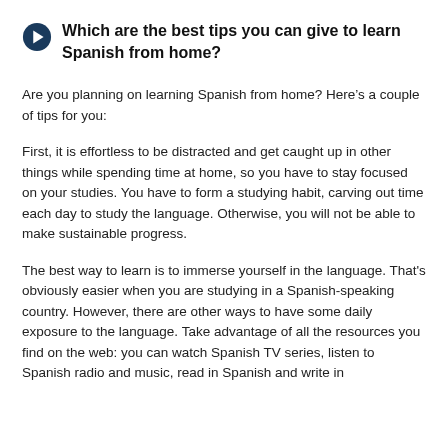Which are the best tips you can give to learn Spanish from home?
Are you planning on learning Spanish from home? Here’s a couple of tips for you:
First, it is effortless to be distracted and get caught up in other things while spending time at home, so you have to stay focused on your studies. You have to form a studying habit, carving out time each day to study the language. Otherwise, you will not be able to make sustainable progress.
The best way to learn is to immerse yourself in the language. That's obviously easier when you are studying in a Spanish-speaking country. However, there are other ways to have some daily exposure to the language. Take advantage of all the resources you find on the web: you can watch Spanish TV series, listen to Spanish radio and music, read in Spanish and write in